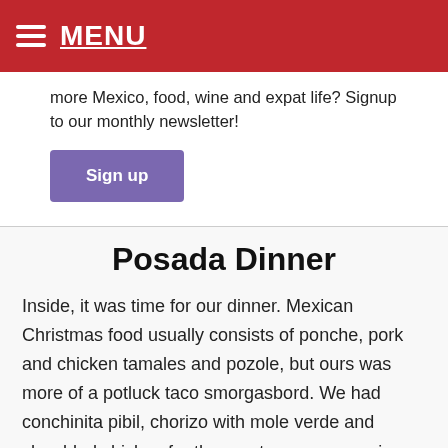MENU
more Mexico, food, wine and expat life? Signup to our monthly newsletter!
Sign up
Posada Dinner
Inside, it was time for our dinner. Mexican Christmas food usually consists of ponche, pork and chicken tamales and pozole, but ours was more of a potluck taco smorgasbord. We had conchinita pibil, chorizo with mole verde and shredded chicken for the meats, peppers, onions, and salsas for the toppings, and beans and pasta salad for the sides.